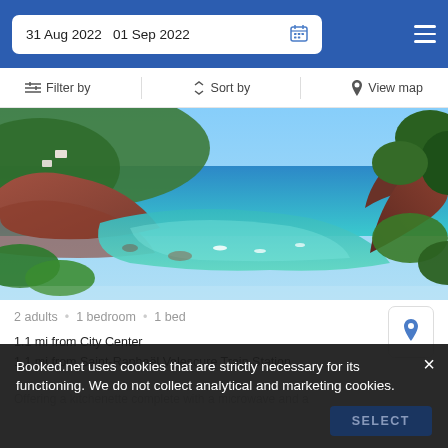31 Aug 2022  01 Sep 2022
Filter by   Sort by   View map
[Figure (photo): Scenic coastal cove with turquoise blue water, red rocky cliffs, green trees, and boats on the water under a clear blue sky]
2 adults · 1 bedroom · 1 bed
1.1 mi from City Center
1.1 mi from Saint-Raphaël Valescure Train Station
Offering a kitchenette complete with a microwave and a
Booked.net uses cookies that are strictly necessary for its functioning. We do not collect analytical and marketing cookies.